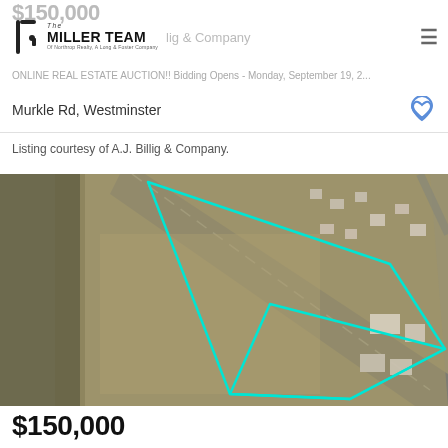$150,000
The MILLER TEAM Of Northrop Realty A Long & Foster Company | A.J. Billig & Company
ONLINE REAL ESTATE AUCTION!! Bidding Opens - Monday, September 19, 2...
Murkle Rd, Westminster
Listing courtesy of A.J. Billig & Company.
[Figure (photo): Aerial satellite view of a land parcel on Murkle Rd Westminster with cyan/teal boundary lines outlining the property boundaries in a rural/suburban area]
$150,000